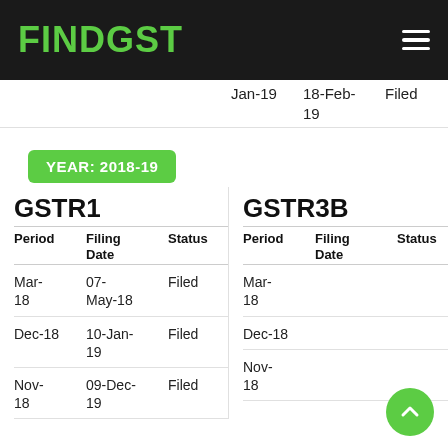FINDGST
| Period | Filing Date | Status |
| --- | --- | --- |
| Jan-19 | 18-Feb-19 | Filed |
YEAR: 2018-19
| Period | Filing Date | Status |
| --- | --- | --- |
| Mar-18 | 07-May-18 | Filed |
| Dec-18 | 10-Jan-19 | Filed |
| Nov-18 | 09-Dec-19 | Filed |
| Period | Filing Date | Status |
| --- | --- | --- |
| Mar-18 |  |  |
| Dec-18 |  |  |
| Nov-18 |  |  |